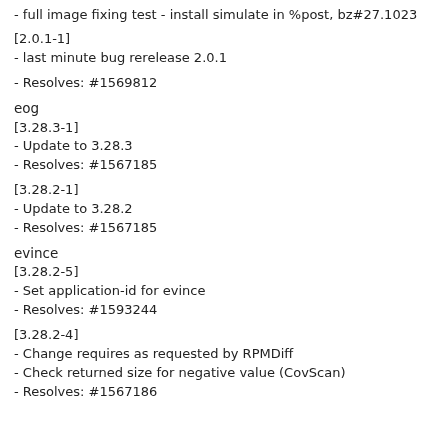- full image fixing test - install simulate in %post, bz#27.1023
[2.0.1-1]
- last minute bug rerelease 2.0.1
- Resolves: #1569812
eog
[3.28.3-1]
- Update to 3.28.3
- Resolves: #1567185
[3.28.2-1]
- Update to 3.28.2
- Resolves: #1567185
evince
[3.28.2-5]
- Set application-id for evince
- Resolves: #1593244
[3.28.2-4]
- Change requires as requested by RPMDiff
- Check returned size for negative value (CovScan)
- Resolves: #1567186